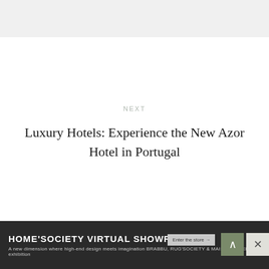NEXT
Luxury Hotels: Experience the New Azor Hotel in Portugal
Leave a Reply
Your email address will not be published. Required fields are marked *
[Figure (screenshot): HOME'SOCIETY VIRTUAL SHOWROOM banner advertisement at the bottom of the page with dark background, white bold text, and a tagline about high-end design.]